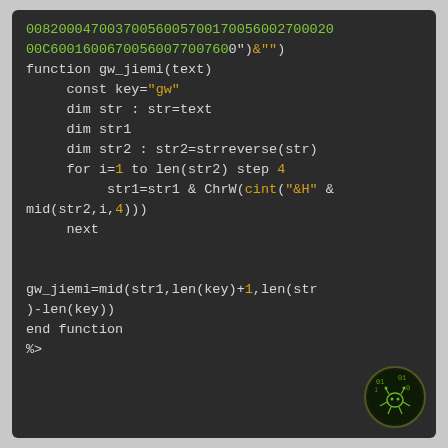[Figure (screenshot): Dark-themed code editor screenshot showing VBScript/ASP code for a gw_jiemi decryption function with syntax highlighting. Green text for hex string data at top, white/yellow for keywords and string literals.]